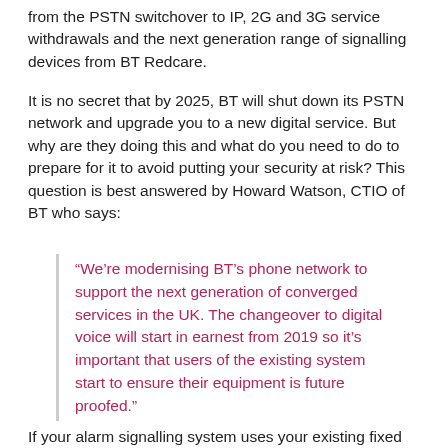from the PSTN switchover to IP, 2G and 3G service withdrawals and the next generation range of signalling devices from BT Redcare.
It is no secret that by 2025, BT will shut down its PSTN network and upgrade you to a new digital service. But why are they doing this and what do you need to do to prepare for it to avoid putting your security at risk? This question is best answered by Howard Watson, CTIO of BT who says:
“We’re modernising BT’s phone network to support the next generation of converged services in the UK. The changeover to digital voice will start in earnest from 2019 so it’s important that users of the existing system start to ensure their equipment is future proofed.”
If your alarm signalling system uses your existing fixed